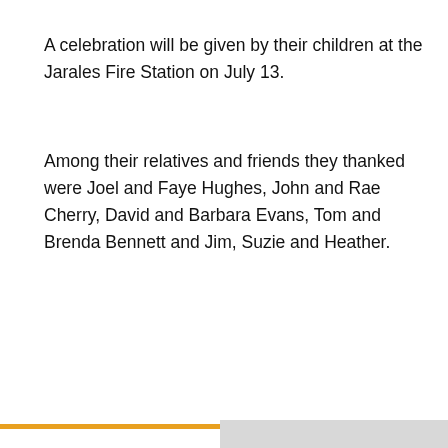A celebration will be given by their children at the Jarales Fire Station on July 13.
Among their relatives and friends they thanked were Joel and Faye Hughes, John and Rae Cherry, David and Barbara Evans, Tom and Brenda Bennett and Jim, Suzie and Heather.